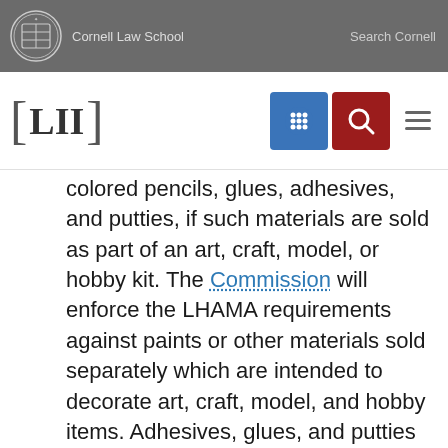Cornell Law School | Search Cornell
[Figure (logo): LII Cornell Law School navigation bar with logo, grid icon, search icon, and menu icon]
colored pencils, glues, adhesives, and putties, if such materials are sold as part of an art, craft, model, or hobby kit. The Commission will enforce the LHAMA requirements against paints or other materials sold separately which are intended to decorate art, craft, model, and hobby items. Adhesives, glues, and putties intended for general repair or construction uses are not subject to LHAMA. However, the Commission will enforce the LHAMA requirements against adhesives, glues, and putties sold separately (not part of a kit) if they are intended for art and